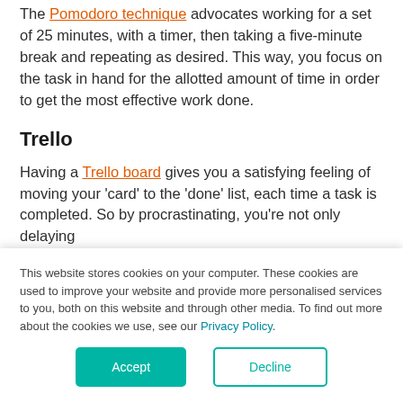The Pomodoro technique advocates working for a set of 25 minutes, with a timer, then taking a five-minute break and repeating as desired. This way, you focus on the task in hand for the allotted amount of time in order to get the most effective work done.
Trello
Having a Trello board gives you a satisfying feeling of moving your 'card' to the 'done' list, each time a task is completed. So by procrastinating, you're not only delaying
This website stores cookies on your computer. These cookies are used to improve your website and provide more personalised services to you, both on this website and through other media. To find out more about the cookies we use, see our Privacy Policy.